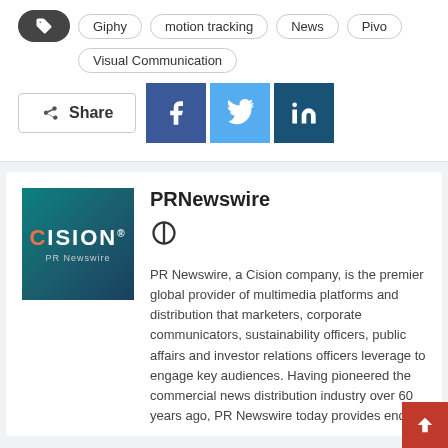Giphy
motion tracking
News
Pivo
Visual Communication
Share
[Figure (logo): Cision PR Newswire logo — teal/dark background with white CISION text and orange C, PR Newswire subtext]
PRNewswire
PR Newswire, a Cision company, is the premier global provider of multimedia platforms and distribution that marketers, corporate communicators, sustainability officers, public affairs and investor relations officers leverage to engage key audiences. Having pioneered the commercial news distribution industry over 60 years ago, PR Newswire today provides end-to-